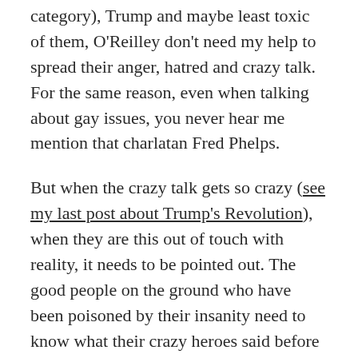category), Trump and maybe least toxic of them, O'Reilley don't need my help to spread their anger, hatred and crazy talk. For the same reason, even when talking about gay issues, you never hear me mention that charlatan Fred Phelps.
But when the crazy talk gets so crazy (see my last post about Trump's Revolution), when they are this out of touch with reality, it needs to be pointed out. The good people on the ground who have been poisoned by their insanity need to know what their crazy heroes said before they deleted their comments from Twitter.
There is so much I could say, but again, let's